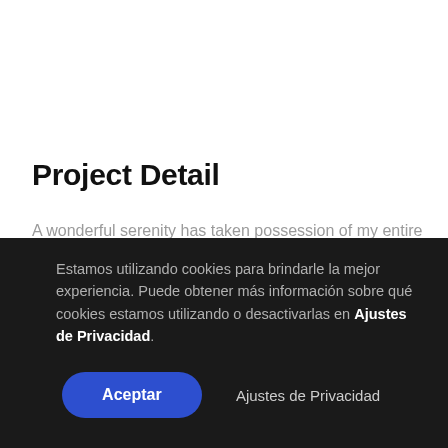Project Detail
A wonderful serenity has taken possession of my entire
Estamos utilizando cookies para brindarle la mejor experiencia. Puede obtener más información sobre qué cookies estamos utilizando o desactivarlas en Ajustes de Privacidad.
Aceptar
Ajustes de Privacidad